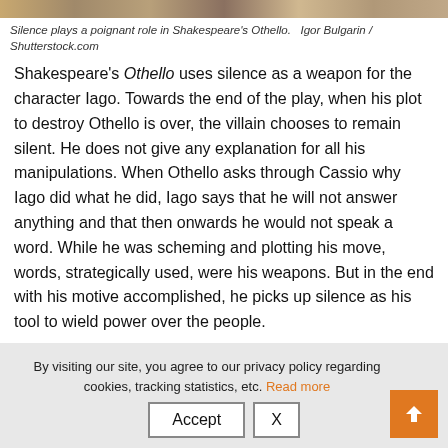[Figure (photo): Top strip of a photo showing people, partially cropped]
Silence plays a poignant role in Shakespeare's Othello.   Igor Bulgarin / Shutterstock.com
Shakespeare's Othello uses silence as a weapon for the character Iago. Towards the end of the play, when his plot to destroy Othello is over, the villain chooses to remain silent. He does not give any explanation for all his manipulations. When Othello asks through Cassio why Iago did what he did, Iago says that he will not answer anything and that then onwards he would not speak a word. While he was scheming and plotting his move, words, strategically used, were his weapons. But in the end with his motive accomplished, he picks up silence as his tool to wield power over the people.
On the other side of the spectrum, there
By visiting our site, you agree to our privacy policy regarding cookies, tracking statistics, etc. Read more